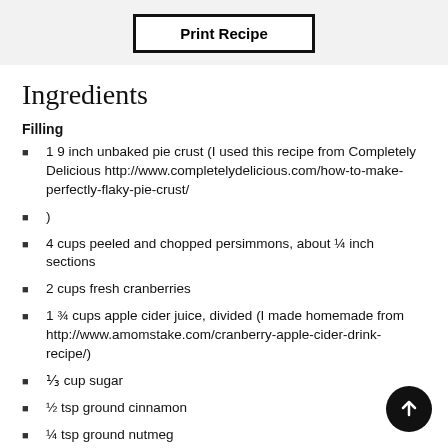Print Recipe
Ingredients
Filling
1 9 inch unbaked pie crust (I used this recipe from Completely Delicious http://www.completelydelicious.com/how-to-make-perfectly-flaky-pie-crust/
)
4 cups peeled and chopped persimmons, about ¼ inch sections
2 cups fresh cranberries
1 ¾ cups apple cider juice, divided (I made homemade from http://www.amomstake.com/cranberry-apple-cider-drink-recipe/)
⅓ cup sugar
½ tsp ground cinnamon
¼ tsp ground nutmeg